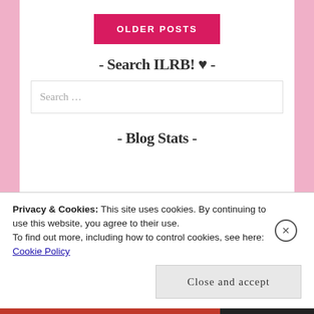OLDER POSTS
- Search ILRB! ♥ -
Search ...
- Blog Stats -
Privacy & Cookies: This site uses cookies. By continuing to use this website, you agree to their use.
To find out more, including how to control cookies, see here: Cookie Policy
Close and accept